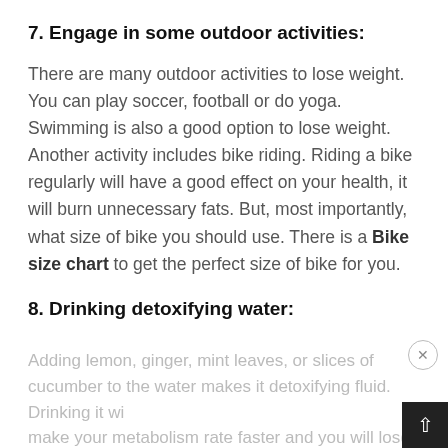7. Engage in some outdoor activities:
There are many outdoor activities to lose weight. You can play soccer, football or do yoga. Swimming is also a good option to lose weight. Another activity includes bike riding. Riding a bike regularly will have a good effect on your health, it will burn unnecessary fats. But, most importantly, what size of bike you should use. There is a Bike size chart to get the perfect size of bike for you.
8. Drinking detoxifying water:
Adding lemon, ginger, mint leaves, or slices of cucumber to the water makes it detoxifying fluid. Drinking it will make your metabolism rate faster and you will lose